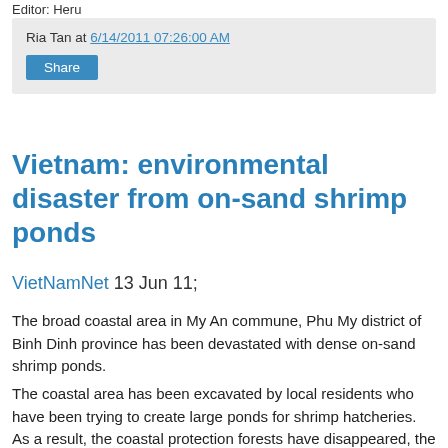Editor: Heru
Ria Tan at 6/14/2011 07:26:00 AM
Share
Vietnam: environmental disaster from on-sand shrimp ponds
VietNamNet 13 Jun 11;
The broad coastal area in My An commune, Phu My district of Binh Dinh province has been devastated with dense on-sand shrimp ponds.
The coastal area has been excavated by local residents who have been trying to create large ponds for shrimp hatcheries. As a result, the coastal protection forests have disappeared, the underground water has become exhausted. The waste from pond shrimp has been left everywhere on the beaches,